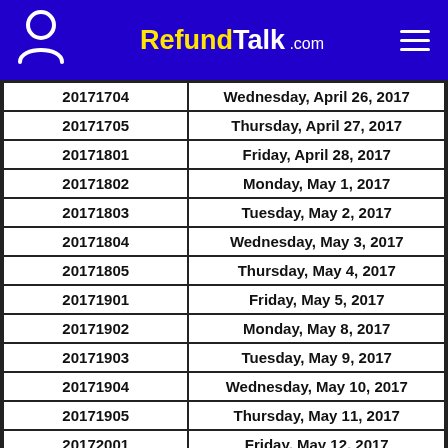RefundTalk .com
| 20171704 | Wednesday, April 26, 2017 |
| 20171705 | Thursday, April 27, 2017 |
| 20171801 | Friday, April 28, 2017 |
| 20171802 | Monday, May 1, 2017 |
| 20171803 | Tuesday, May 2, 2017 |
| 20171804 | Wednesday, May 3, 2017 |
| 20171805 | Thursday, May 4, 2017 |
| 20171901 | Friday, May 5, 2017 |
| 20171902 | Monday, May 8, 2017 |
| 20171903 | Tuesday, May 9, 2017 |
| 20171904 | Wednesday, May 10, 2017 |
| 20171905 | Thursday, May 11, 2017 |
| 20172001 | Friday, May 12, 2017 |
| 20172002 | Monday, May 15, 2017 |
| 20172003 | Tuesday, May 16, 2017 |
| 20172004 | Wednesday, May 17, 2017 |
| 20172005 | Thursday, May 18, 2017 |
| 20172101 | Friday, May 19, 2017 |
| 20172102 | Monday, May 22, 2017 |